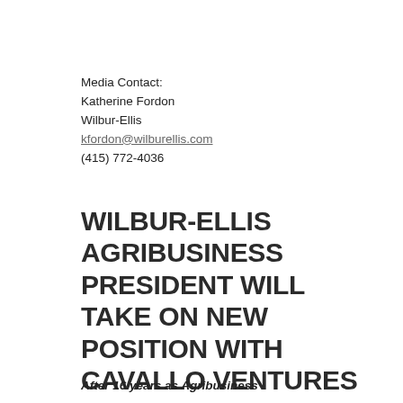Media Contact:
Katherine Fordon
Wilbur-Ellis
kfordon@wilburellis.com
(415) 772-4036
WILBUR-ELLIS AGRIBUSINESS PRESIDENT WILL TAKE ON NEW POSITION WITH CAVALLO VENTURES
After 16 years as Agribusiness